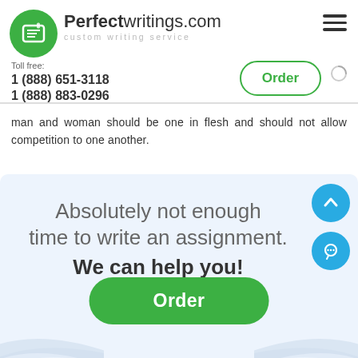Perfectwritings.com custom writing service | Toll free: 1 (888) 651-3118 | 1 (888) 883-0296
man and woman should be one in flesh and should not allow competition to one another.
[Figure (infographic): CTA banner with text: Absolutely not enough time to write an assignment? We can help you! with a green Order button]
Absolutely not enough time to write an assignment. We can help you!
Order